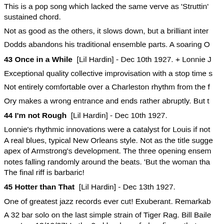This is a pop song which lacked the same verve as 'Struttin' sustained chord.
Not as good as the others, it slows down, but a brilliant inter
Dodds abandons his traditional ensemble parts. A soaring O
43 Once in a While [Lil Hardin] - Dec 10th 1927. + Lonnie J
Exceptional quality collective improvisation with a stop time s
Not entirely comfortable over a Charleston rhythm from the f
Ory makes a wrong entrance and ends rather abruptly. But t
44 I'm not Rough [Lil Hardin] - Dec 10th 1927.
Lonnie's rhythmic innovations were a catalyst for Louis if no A real blues, typical New Orleans style. Not as the title sugge apex of Armstrong's development. The three opening ensem notes falling randomly around the beats. 'But the woman tha The final riff is barbaric!
45 Hotter than That [Lil Hardin] - Dec 13th 1927.
One of greatest jazz records ever cut! Exuberant. Remarkab
A 32 bar solo on the last simple strain of Tiger Rag. Bill Baile song' on 13/12/27! In the 2nd bar he unfurls a figure that exp becomes the start of the next phrase. Bar 16 has a similar su